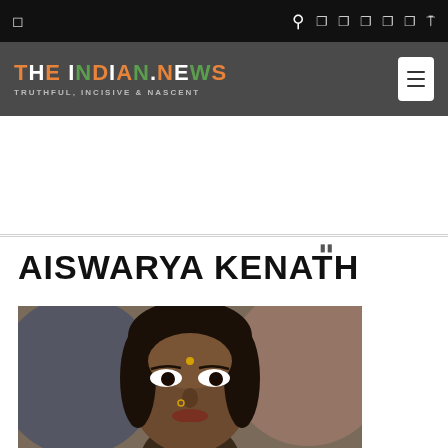THE INDIAN.NEWS — TRUTHFUL, INCISIVE & NASCENT
AISWARYA KENATH
[Figure (photo): Close-up portrait photograph of a woman with dark hair, a nose ring, and a bindi on her forehead against a blurred background.]